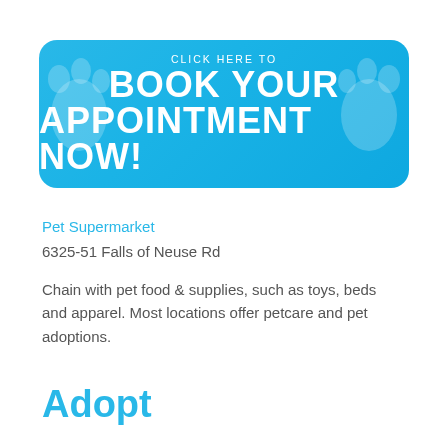[Figure (infographic): Blue rounded-rectangle banner button with paw print icons on left and right. Text reads 'CLICK HERE TO BOOK YOUR APPOINTMENT NOW!' in white on a sky-blue gradient background.]
Pet Supermarket
6325-51 Falls of Neuse Rd
Chain with pet food & supplies, such as toys, beds and apparel. Most locations offer petcare and pet adoptions.
Adopt